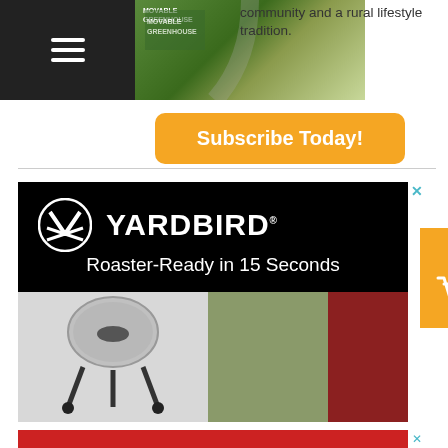[Figure (photo): Dark navigation bar with hamburger menu icon (three white horizontal lines) on the left side]
[Figure (photo): Thumbnail image of a book about Movable Greenhouse and rural lifestyle]
community and a rural lifestyle tradition.
Subscribe Today!
[Figure (photo): Yardbird advertisement with black background, Yardbird logo and text 'Roaster-Ready in 15 Seconds', showing a chicken plucker machine and a man holding chickens]
[Figure (photo): Partial bottom advertisement with red background, partially visible]